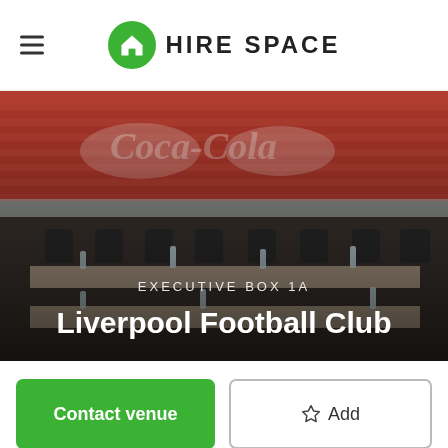HIRE SPACE
[Figure (photo): Conference room setup inside a football stadium executive box, with rows of black chairs behind long tables set with water bottles, pads and pens, and a panoramic view of the stadium seating (red and white Coca-Cola branding visible) through floor-to-ceiling windows in the background. Text overlay reads 'EXECUTIVE BOX 1A' and 'Liverpool Football Club'.]
Liverpool Football Club
EXECUTIVE BOX 1A
Contact venue
☆ Add